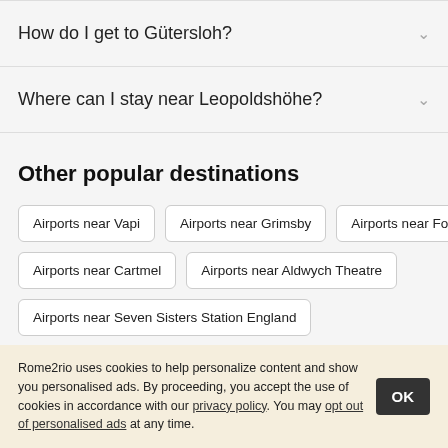How do I get to Gütersloh?
Where can I stay near Leopoldshöhe?
Other popular destinations
Airports near Vapi
Airports near Grimsby
Airports near Fort Lee
Airports near Cartmel
Airports near Aldwych Theatre
Airports near Seven Sisters Station England
Rome2rio uses cookies to help personalize content and show you personalised ads. By proceeding, you accept the use of cookies in accordance with our privacy policy. You may opt out of personalised ads at any time.